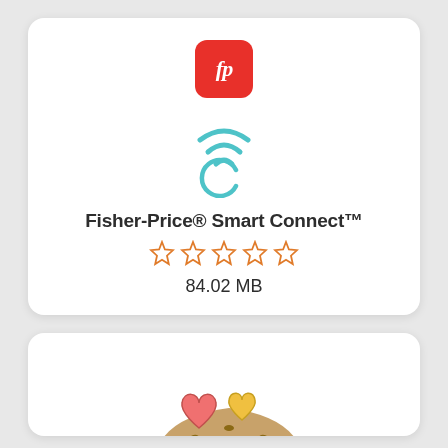[Figure (logo): Fisher-Price 'fp' logo in red rounded square, with WiFi/loading arc icon below in teal blue]
Fisher-Price® Smart Connect™
[Figure (other): Five empty orange star rating icons]
84.02 MB
[Figure (illustration): App icon showing a sandwich/burger with two hearts on top, colorful cartoon illustration]